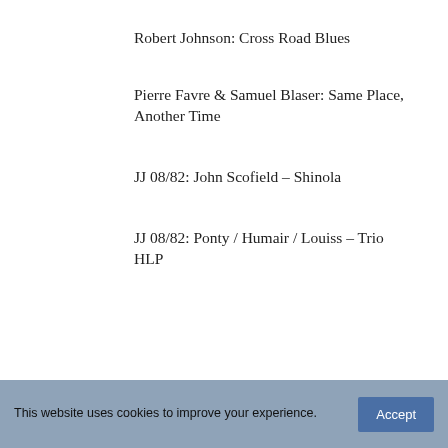Robert Johnson: Cross Road Blues
Pierre Favre & Samuel Blaser: Same Place, Another Time
JJ 08/82: John Scofield – Shinola
JJ 08/82: Ponty / Humair / Louiss – Trio HLP
This website uses cookies to improve your experience.  Accept